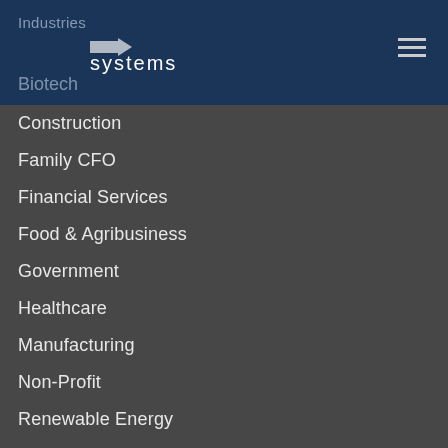Industries
[Figure (logo): Arrow logo with 'systems' text in white on dark blue header]
Biotech
Construction
Family CFO
Financial Services
Food & Agribusiness
Government
Healthcare
Manufacturing
Non-Profit
Renewable Energy
Rural Hospitals
Transportation